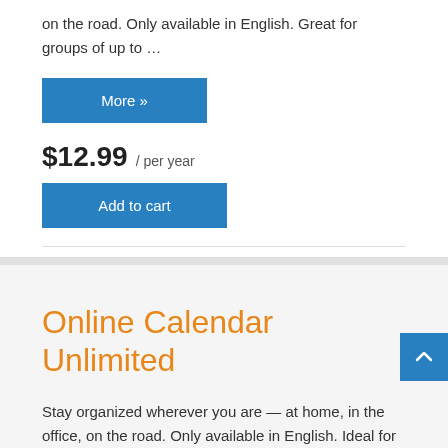on the road. Only available in English. Great for groups of up to …
More »
$12.99 / per year
Add to cart
Online Calendar Unlimited
Stay organized wherever you are — at home, in the office, on the road. Only available in English. Ideal for businesses and larger groups …